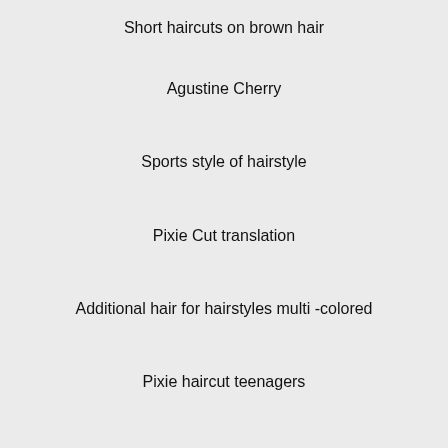Short haircuts on brown hair
Agustine Cherry
Sports style of hairstyle
Pixie Cut translation
Additional hair for hairstyles multi -colored
Pixie haircut teenagers